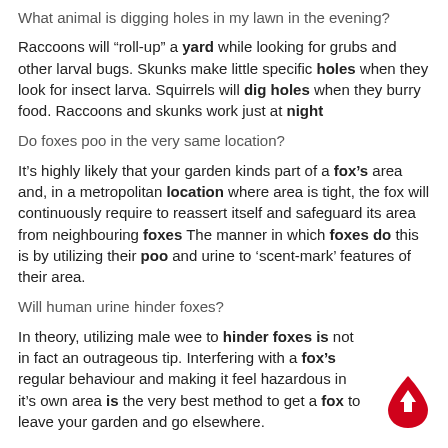What animal is digging holes in my lawn in the evening?
Raccoons will “roll-up” a yard while looking for grubs and other larval bugs. Skunks make little specific holes when they look for insect larva. Squirrels will dig holes when they burry food. Raccoons and skunks work just at night
Do foxes poo in the very same location?
It’s highly likely that your garden kinds part of a fox’s area and, in a metropolitan location where area is tight, the fox will continuously require to reassert itself and safeguard its area from neighbouring foxes The manner in which foxes do this is by utilizing their poo and urine to ‘scent-mark’ features of their area.
Will human urine hinder foxes?
In theory, utilizing male wee to hinder foxes is not in fact an outrageous tip. Interfering with a fox’s regular behaviour and making it feel hazardous in it’s own area is the very best method to get a fox to leave your garden and go elsewhere.
[Figure (illustration): Red teardrop/water-drop shaped scroll-to-top button with a white upward arrow inside, positioned at bottom right]